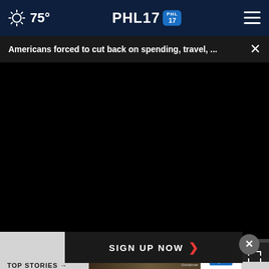75° PHL17
Americans forced to cut back on spending, travel, ...
[Figure (screenshot): Black video player area with playback controls: play button, mute button, timestamp 00:00, captions button, fullscreen button, and progress bar]
SIGN UP NOW →
[Figure (photo): Advertisement for The 2022 Subaru Ascent with car image and Subaru logo with Explore button]
TOP STORIES →